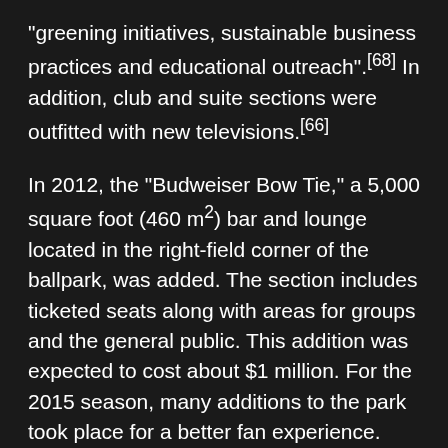"greening initiatives, sustainable business practices and educational outreach".[68] In addition, club and suite sections were outfitted with new televisions.[66]
In 2012, the "Budweiser Bow Tie," a 5,000 square foot (460 m2) bar and lounge located in the right-field corner of the ballpark, was added. The section includes ticketed seats along with areas for groups and the general public. This addition was expected to cost about $1 million. For the 2015 season, many additions to the park took place for a better fan experience. One of the additions to the park is the left-field terrace. It has two levels for standing room, with 250 feet (76 m) of drink rails. The terrace fills the gap between the left-field bleachers and the Rivertowne Brewing Hall of Fame Club and is open to any fan with a ticket. Another addition includes a new outdoor patio that overlooks the center field, right next to the terraces. The